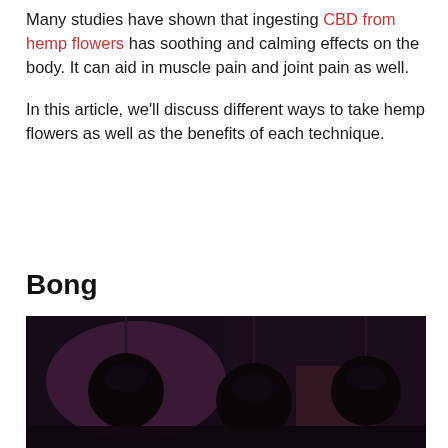Many studies have shown that ingesting CBD from hemp flowers has soothing and calming effects on the body. It can aid in muscle pain and joint pain as well.

In this article, we'll discuss different ways to take hemp flowers as well as the benefits of each technique.
Bong
[Figure (photo): Dark atmospheric photo showing three pendant lights hanging from above against a dark purple/maroon background.]